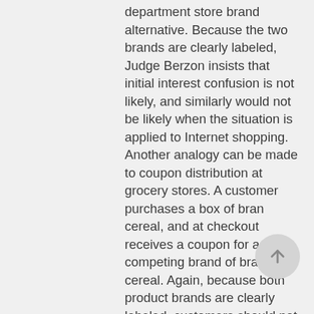department store brand alternative. Because the two brands are clearly labeled, Judge Berzon insists that initial interest confusion is not likely, and similarly would not be likely when the situation is applied to Internet shopping. Another analogy can be made to coupon distribution at grocery stores. A customer purchases a box of bran cereal, and at checkout receives a coupon for a competing brand of bran cereal. Again, because both product brands are clearly labeled, customers should not be confused. At the close of her opinion, Judge Berzon invites the 9th Circuit or another court to consider reevaluating the “insupportable” rule in Brookfield. Adoption of a more restrictive position, as encouraged by Judge Berzon, with respect to meta tags could have a